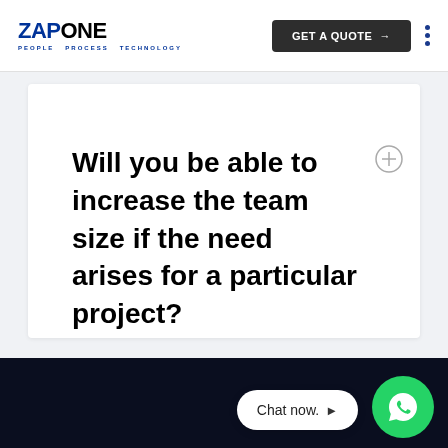ZAPONE PEOPLE PROCESS TECHNOLOGY | GET A QUOTE →
Will you be able to increase the team size if the need arises for a particular project?
Chat now. →